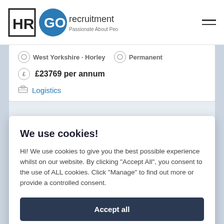[Figure (logo): HRGO Recruitment logo - HR in a box, GO in blue circle, text 'recruitment Passionate About People']
West Yorkshire · Horley · Permanent
£23769 per annum
Logistics
We use cookies!
Hi! We use cookies to give you the best possible experience whilst on our website. By clicking "Accept All", you consent to the use of ALL cookies. Click "Manage" to find out more or provide a controlled consent.
Accept all
Manage
Contract